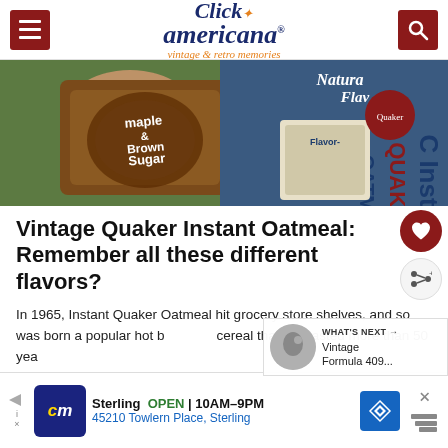Click Americana — vintage & retro memories
[Figure (photo): Vintage Quaker Instant Oatmeal boxes including Maple Brown Sugar and Quaker Natural Flavors varieties, held in hands]
Vintage Quaker Instant Oatmeal: Remember all these different flavors?
In 1965, Instant Quaker Oatmeal hit grocery store shelves, and so was born a popular hot breakfast cereal that has lasted more than 50 yea...
WHAT'S NEXT → Vintage Formula 409...